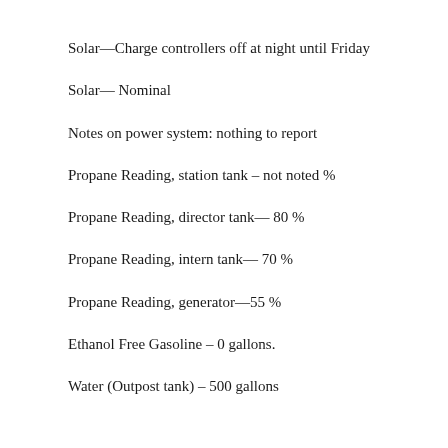Solar—Charge controllers off at night until Friday
Solar— Nominal
Notes on power system: nothing to report
Propane Reading, station tank – not noted %
Propane Reading, director tank— 80 %
Propane Reading, intern tank— 70 %
Propane Reading, generator—55 %
Ethanol Free Gasoline – 0 gallons.
Water (Outpost tank) – 500 gallons